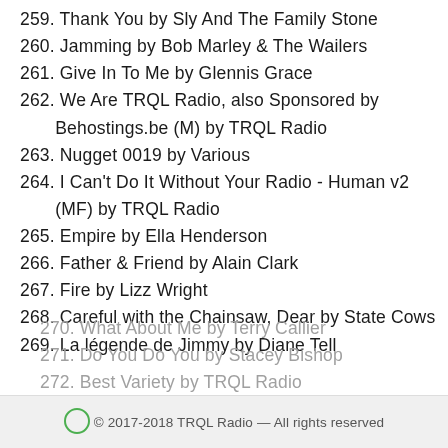259. Thank You by Sly And The Family Stone
260. Jamming by Bob Marley & The Wailers
261. Give In To Me by Glennis Grace
262. We Are TRQL Radio, also Sponsored by Behostings.be (M) by TRQL Radio
263. Nugget 0019 by Various
264. I Can't Do It Without Your Radio - Human v2 (MF) by TRQL Radio
265. Empire by Ella Henderson
266. Father & Friend by Alain Clark
267. Fire by Lizz Wright
268. Careful with the Chainsaw, Dear by State Cows
269. La légende de Jimmy by Diane Tell
270. What About Me by Terry Callier
271. Do You Do You by Stacey Bishop
272. Best Variety by TRQL Radio
© 2017-2018 TRQL Radio — All rights reserved